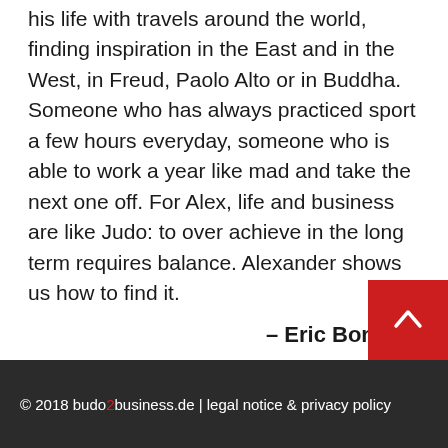his life with travels around the world, finding inspiration in the East and in the West, in Freud, Paolo Alto or in Buddha. Someone who has always practiced sport a few hours everyday, someone who is able to work a year like mad and take the next one off. For Alex, life and business are like Judo: to over achieve in the long term requires balance. Alexander shows us how to find it.
– Eric Bonnem
© 2018 budo2business.de | legal notice & privacy policy